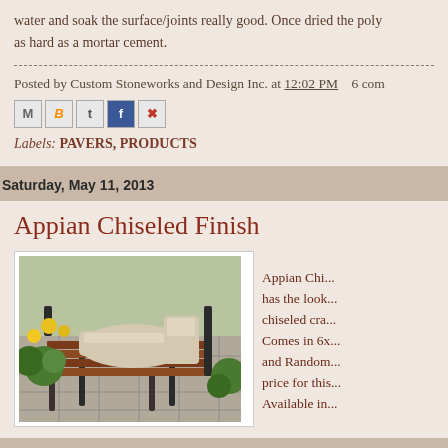water and soak the surface/joints really good. Once dried the poly as hard as a mortar cement.
Posted by Custom Stoneworks and Design Inc. at 12:02 PM   6 com
[Figure (infographic): Social sharing icons: Email (M), BlogThis (B), Twitter (t), Facebook (f), Pinterest (P)]
Labels: PAVERS, PRODUCTS
Saturday, May 11, 2013
Appian Chiseled Finish
[Figure (photo): Photo of a wooden bench with cushion on stone/paver flooring with plants and yellow flowers surrounding it]
Appian Chi... has the look... chiseled cra... Comes in 6x... and Random... price for this... Available in...